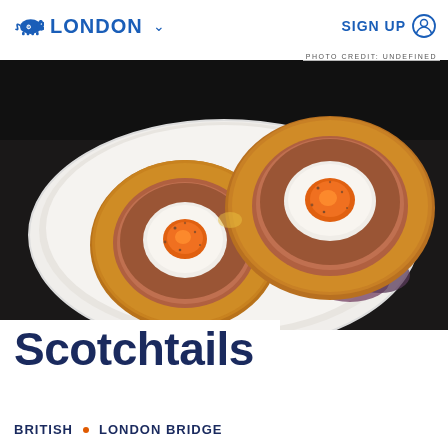LONDON   SIGN UP
PHOTO CREDIT: UNDEFINED
[Figure (photo): Two scotch eggs (Scotchtails) cut in half showing runny orange yolks, wrapped in sausage meat and breadcrumbs, served on a white styrofoam tray with mixed green salad leaves, photographed from above on a dark background.]
Scotchtails
BRITISH   •   LONDON BRIDGE